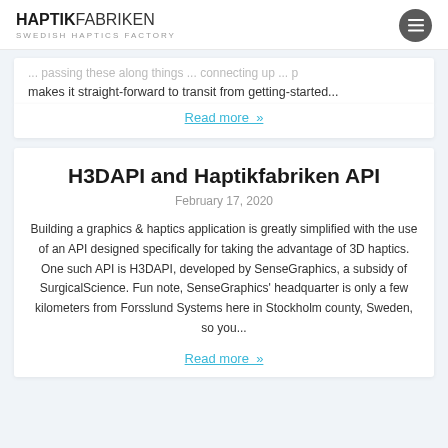HAPTIKFABRIKEN SWEDISH HAPTICS FACTORY
makes it straight-forward to transit from getting-started...
Read more »
H3DAPI and Haptikfabriken API
February 17, 2020
Building a graphics & haptics application is greatly simplified with the use of an API designed specifically for taking the advantage of 3D haptics. One such API is H3DAPI, developed by SenseGraphics, a subsidy of SurgicalScience. Fun note, SenseGraphics' headquarter is only a few kilometers from Forsslund Systems here in Stockholm county, Sweden, so you...
Read more »